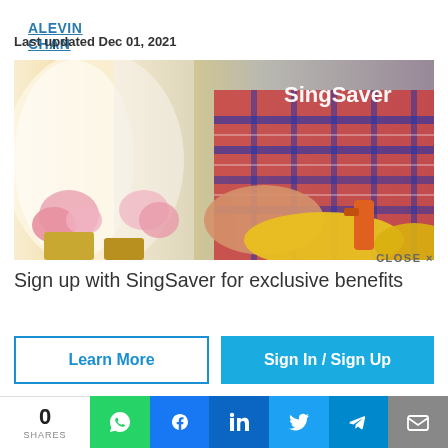ALEVIN CHAN
Last updated Dec 01, 2021
[Figure (photo): Person wearing a red/blue plaid shirt and yellow rubber gloves, cleaning or spraying a surface near potted pink flowers. SingSaver logo visible in top right corner.]
CLOSE X
Sign up with SingSaver for exclusive benefits
Learn More
Sign In / Sign Up
trades at competitive rates.
0
SHARES